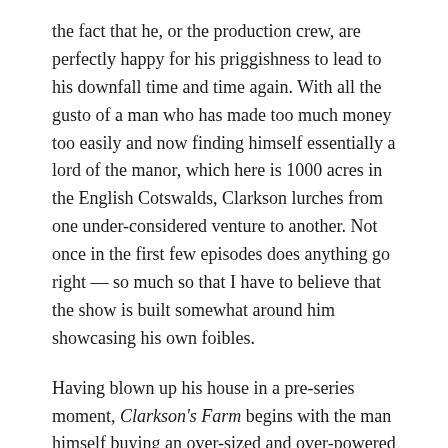the fact that he, or the production crew, are perfectly happy for his priggishness to lead to his downfall time and time again. With all the gusto of a man who has made too much money too easily and now finding himself essentially a lord of the manor, which here is 1000 acres in the English Cotswalds, Clarkson lurches from one under-considered venture to another. Not once in the first few episodes does anything go right — so much so that I have to believe that the show is built somewhat around him showcasing his own foibles.
Having blown up his house in a pre-series moment, Clarkson's Farm begins with the man himself buying an over-sized and over-powered tractor, which is something you would entirely expect of the long-time host of a show about cars. And you certainly expect to see him in the tractor, puttering about. You do not expect him to buy sheep, and then get a bit weepy when it turns out that three need to be euthanized. This is Clarkson as you have never seen him